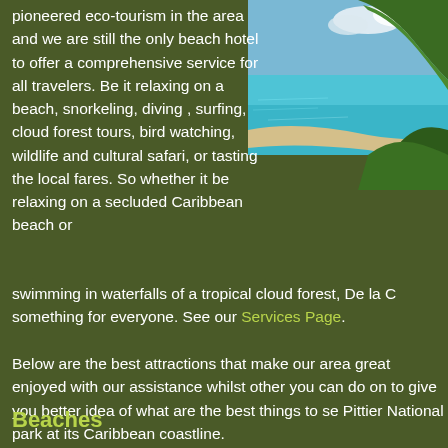pioneered eco-tourism in the area and we are still the only beach hotel to offer a comprehensive service for all travelers. Be it relaxing on a beach, snorkeling, diving , surfing, cloud forest tours, bird watching, wildlife and cultural safari, or tasting the local fares. So whether it be relaxing on a secluded Caribbean beach or swimming in waterfalls of a tropical cloud forest, De la C something for everyone. See our Services Page.
[Figure (photo): Aerial or elevated view of a Caribbean beach with turquoise water, sandy beach, and lush green hillside/cliffs under a blue sky with clouds.]
Below are the best attractions that make our area great enjoyed with our assistance whilst other you can do on to give you better idea of what are the best things to se Pittier National park at its Caribbean coastline.
Beaches